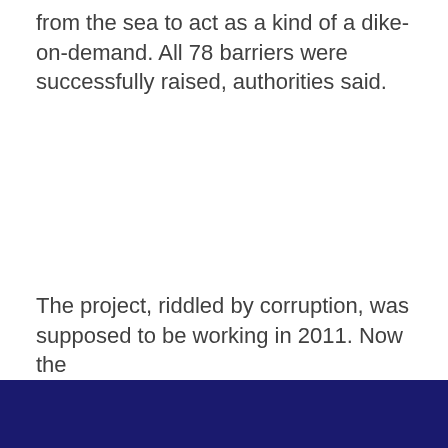from the sea to act as a kind of a dike-on-demand. All 78 barriers were successfully raised, authorities said.
The project, riddled by corruption, was supposed to be working in 2011. Now the